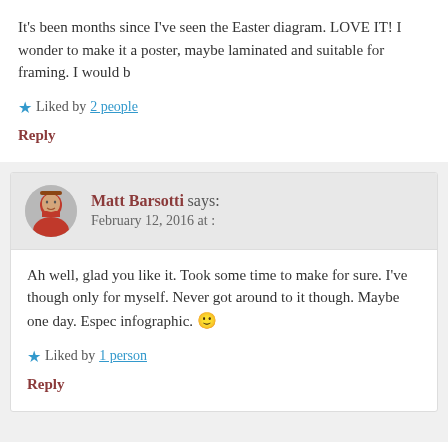It's been months since I've seen the Easter diagram. LOVE IT! I wonder to make it a poster, maybe laminated and suitable for framing. I would b
★ Liked by 2 people
Reply
Matt Barsotti says: February 12, 2016 at :
Ah well, glad you like it. Took some time to make for sure. I've though only for myself. Never got around to it though. Maybe one day. Espec infographic. 🙂
★ Liked by 1 person
Reply
Leave a Reply